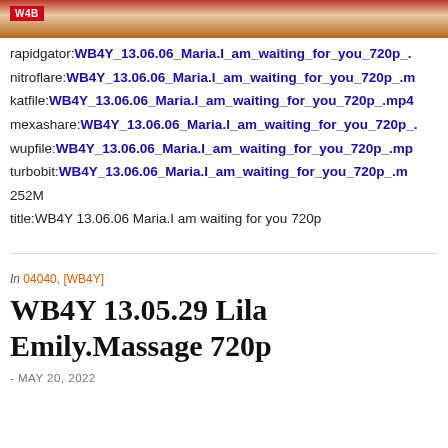[Figure (photo): Partial image at top of page with WB4Y badge/logo in top-left corner]
rapidgator:WB4Y_13.06.06_Maria.I_am_waiting_for_you_720p_.
nitroflare:WB4Y_13.06.06_Maria.I_am_waiting_for_you_720p_.m
katfile:WB4Y_13.06.06_Maria.I_am_waiting_for_you_720p_.mp4
mexashare:WB4Y_13.06.06_Maria.I_am_waiting_for_you_720p_.
wupfile:WB4Y_13.06.06_Maria.I_am_waiting_for_you_720p_.mp
turbobit:WB4Y_13.06.06_Maria.I_am_waiting_for_you_720p_.m
252M
title:WB4Y 13.06.06 Maria.I am waiting for you 720p
In 04040, [WB4Y]
WB4Y 13.05.29 Lila Emily.Massage 720p
- MAY 20, 2022